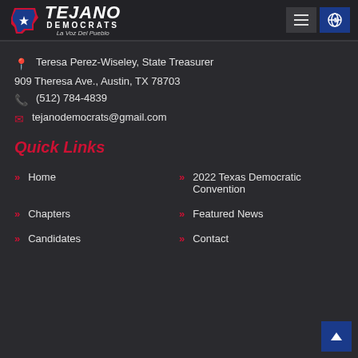[Figure (logo): Tejano Democrats logo with Texas state outline and La Voz Del Pueblo tagline]
Teresa Perez-Wiseley, State Treasurer
909 Theresa Ave., Austin, TX 78703
(512) 784-4839
tejanodemocrats@gmail.com
Quick Links
Home
2022 Texas Democratic Convention
Chapters
Featured News
Candidates
Contact